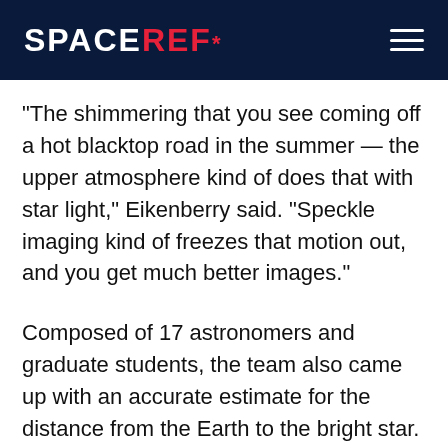SPACEREF*
"The shimmering that you see coming off a hot blacktop road in the summer — the upper atmosphere kind of does that with star light," Eikenberry said. "Speckle imaging kind of freezes that motion out, and you get much better images."
Composed of 17 astronomers and graduate students, the team also came up with an accurate estimate for the distance from the Earth to the bright star. Team members further determined its temperature and how much of the star's infrared